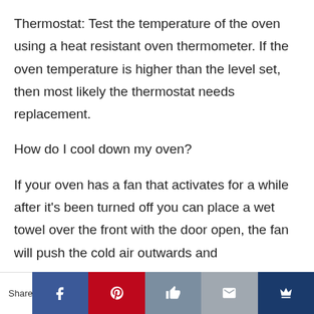Thermostat: Test the temperature of the oven using a heat resistant oven thermometer. If the oven temperature is higher than the level set, then most likely the thermostat needs replacement.
How do I cool down my oven?
If your oven has a fan that activates for a while after it's been turned off you can place a wet towel over the front with the door open, the fan will push the cold air outwards and
Shares | Facebook | Pinterest | Like | Email | Crown